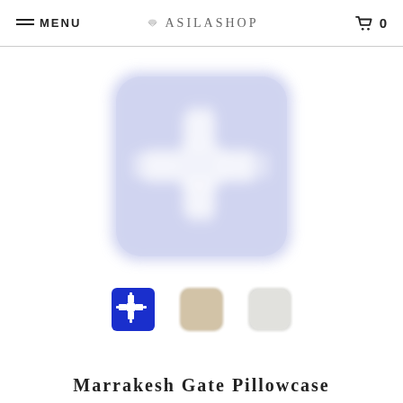MENU | ASILASHOP | 0
[Figure (photo): Large blurry light blue/lavender pillow with a white Marrakesh gate cross-like pattern in the center]
[Figure (photo): Thumbnail 1: Small blue pillow with white gate pattern]
[Figure (photo): Thumbnail 2: Small beige/tan pillow]
[Figure (photo): Thumbnail 3: Small white/light gray pillow]
Marrakesh Gate Pillowcase